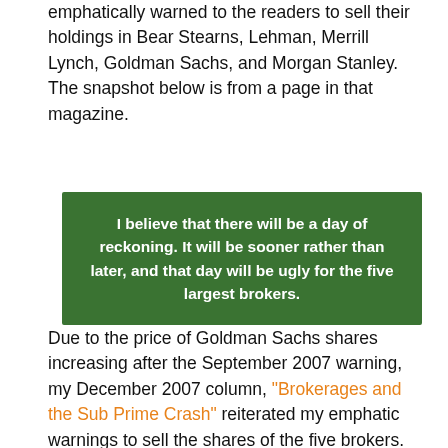emphatically warned to the readers to sell their holdings in Bear Stearns, Lehman, Merrill Lynch, Goldman Sachs, and Morgan Stanley.  The snapshot below is from a page in that magazine.
[Figure (other): Green box quote: 'I believe that there will be a day of reckoning. It will be sooner rather than later, and that day will be ugly for the five largest brokers.']
Due to the price of Goldman Sachs shares increasing after the September 2007 warning, my December 2007 column, "Brokerages and the Sub Prime Crash" reiterated my emphatic warnings to sell the shares of the five brokers.  During